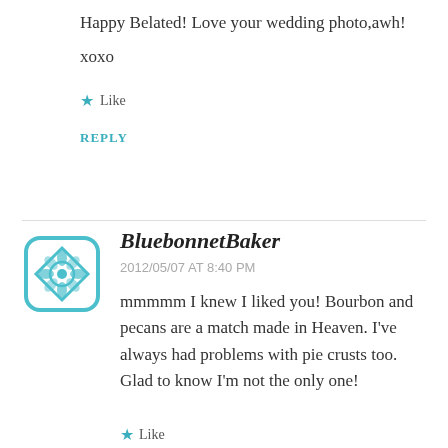Happy Belated! Love your wedding photo,awh!
xoxo
Like
REPLY
[Figure (illustration): Teal geometric floral avatar icon for BluebonnetBaker]
BluebonnetBaker
2012/05/07 AT 8:40 PM
mmmmm I knew I liked you! Bourbon and pecans are a match made in Heaven. I've always had problems with pie crusts too. Glad to know I'm not the only one!
Like